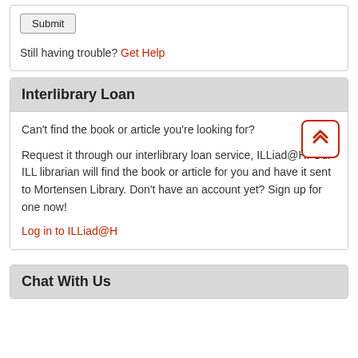[Figure (screenshot): Submit button rendered as a form button with gray background and border]
Still having trouble? Get Help
Interlibrary Loan
Can't find the book or article you're looking for?
Request it through our interlibrary loan service, ILLiad@H. Our ILL librarian will find the book or article for you and have it sent to Mortensen Library. Don't have an account yet? Sign up for one now!
Log in to ILLiad@H
Chat With Us